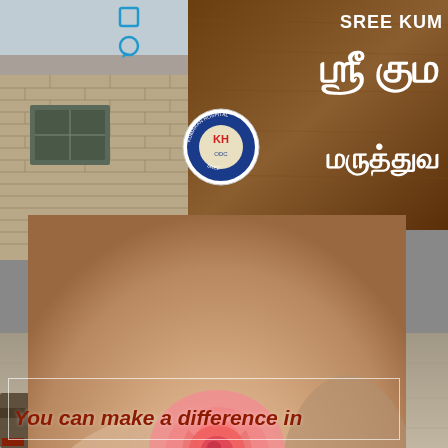[Figure (photo): Collage of two photos: top portion shows the exterior of Sree Kumaran Hospital with a wooden sign board displaying 'SREE KUM...' in English and Tamil script (Sri Kumaran Maruthuva...), with the hospital logo/emblem visible. A brick building is on the left side. Bottom/overlapping portion shows a close-up photo of two cupped hands gently holding a pink rose flower.]
You can make a difference in